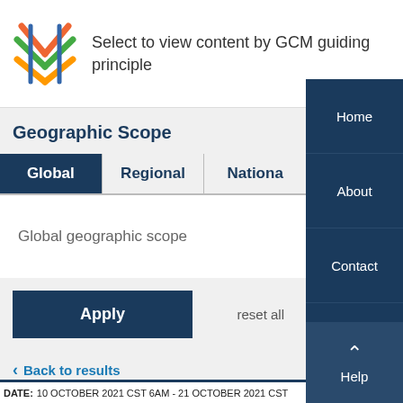[Figure (logo): Colorful woven grid pattern logo]
Select to view content by GCM guiding principle
Geographic Scope
Global | Regional | National (tabs)
Global geographic scope
Apply
reset all
Back to results
DATE: 10 OCTOBER 2021 CST 6AM - 21 OCTOBER 2021 CST
Home
About
Contact
Join
Sign In
Help